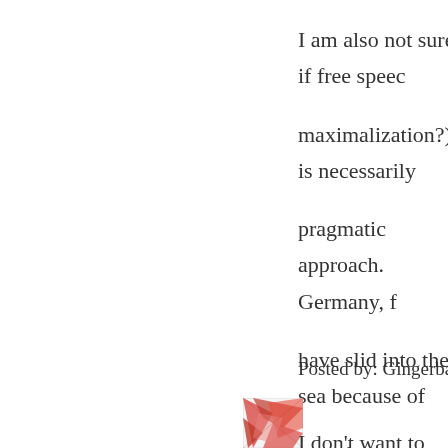I am also not sure if free speech maximalization?) is necessarily pragmatic approach. Germany, have slid into the sea because of specified restrictions on public explicit antisemitism. Most Eur content-specific laws proscribin speech for decades now, and wh occurred (and generally were co Europeans seem to appreciate th society of these speech codes, d vigorously on web forums, and plans to change them.
Posted by: Gingerbaker | March 28, 2...
[Figure (illustration): Small square avatar image with abstract red geometric/angular pattern on white background]
I don't want to jump on the troll...